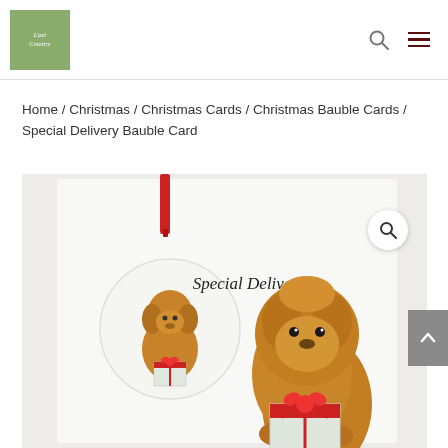[Figure (logo): Lizzi Country logo — green square with white italic script text]
Home / Christmas / Christmas Cards / Christmas Bauble Cards / Special Delivery Bauble Card
[Figure (photo): Product photo: A Christmas bauble card showing a golden doodle dog holding a wrapped gift with a red bow. A circular hanging ornament with the same dog illustration is attached with a red ribbon. The card reads 'Special Delivery!']